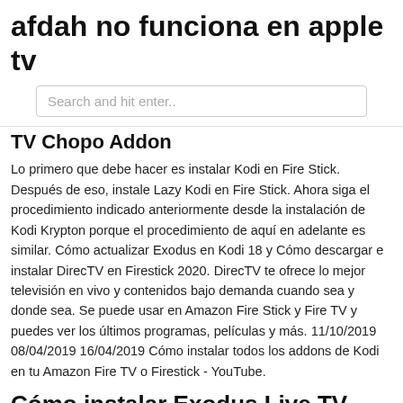afdah no funciona en apple tv
[Figure (other): Search bar with placeholder text 'Search and hit enter..']
TV Chopo Addon
Lo primero que debe hacer es instalar Kodi en Fire Stick. Después de eso, instale Lazy Kodi en Fire Stick. Ahora siga el procedimiento indicado anteriormente desde la instalación de Kodi Krypton porque el procedimiento de aquí en adelante es similar. Cómo actualizar Exodus en Kodi 18 y Cómo descargar e instalar DirecTV en Firestick 2020. DirecTV te ofrece lo mejor televisión en vivo y contenidos bajo demanda cuando sea y donde sea. Se puede usar en Amazon Fire Stick y Fire TV y puedes ver los últimos programas, películas y más. 11/10/2019 08/04/2019 16/04/2019 Cómo instalar todos los addons de Kodi en tu Amazon Fire TV o Firestick - YouTube.
Cómo instalar Exodus Live TV Apk en Firestick y Android TV .
También te  Aprenda a instalar VPN y Kodi en Amazon Fire